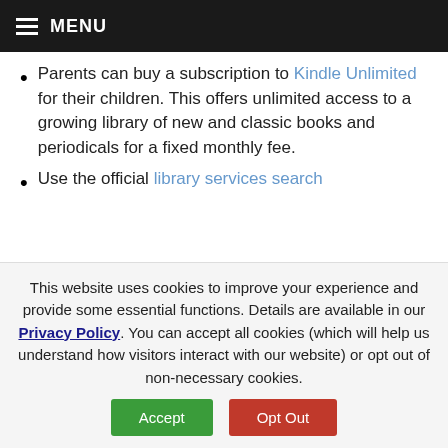MENU
Parents can buy a subscription to Kindle Unlimited for their children. This offers unlimited access to a growing library of new and classic books and periodicals for a fixed monthly fee.
Use the official library services search
This website uses cookies to improve your experience and provide some essential functions. Details are available in our Privacy Policy. You can accept all cookies (which will help us understand how visitors interact with our website) or opt out of non-necessary cookies.